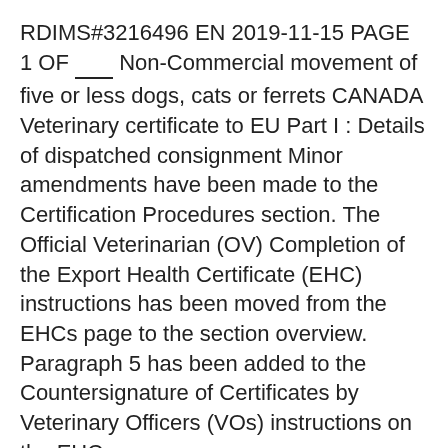RDIMS#3216496 EN 2019-11-15 PAGE 1 OF ___ Non-Commercial movement of five or less dogs, cats or ferrets CANADA Veterinary certificate to EU Part I : Details of dispatched consignment Minor amendments have been made to the Certification Procedures section. The Official Veterinarian (OV) Completion of the Export Health Certificate (EHC) instructions has been moved from the EHCs page to the section overview. Paragraph 5 has been added to the Countersignature of Certificates by Veterinary Officers (VOs) instructions on the EHCs
These instructions establish the